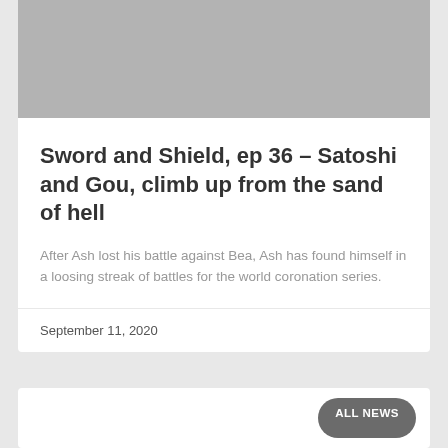[Figure (photo): Gray placeholder image at top of article card]
Sword and Shield, ep 36 – Satoshi and Gou, climb up from the sand of hell
After Ash lost his battle against Bea, Ash has found himself in a loosing streak of battles for the world coronation series.
September 11, 2020
[Figure (other): Bottom card with ALL NEWS button]